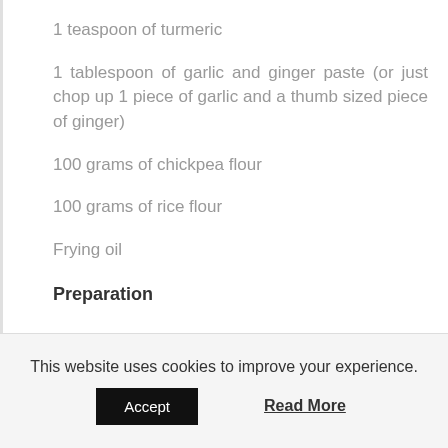1 teaspoon of turmeric
1 tablespoon of garlic and ginger paste (or just chop up 1 piece of garlic and a thumb sized piece of ginger)
100 grams of chickpea flour
100 grams of rice flour
Frying oil
Preparation
This website uses cookies to improve your experience.